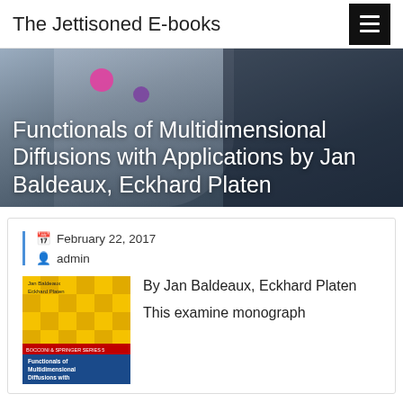The Jettisoned E-books
Functionals of Multidimensional Diffusions with Applications by Jan Baldeaux, Eckhard Platen
February 22, 2017
admin
[Figure (illustration): Book cover of Functionals of Multidimensional Diffusions with Applications, showing a yellow and blue checkered pattern with authors Jan Baldeaux and Eckhard Platen]
By Jan Baldeaux, Eckhard Platen

This examine monograph